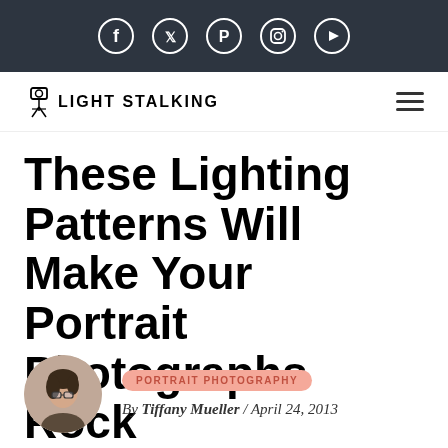[Figure (other): Social media icons bar with Facebook, Twitter, Pinterest, Instagram, YouTube icons on dark background]
[Figure (logo): Light Stalking logo with camera on tripod icon and hamburger menu]
These Lighting Patterns Will Make Your Portrait Photographs Rock
[Figure (photo): Circular author portrait photo of a woman with glasses]
PORTRAIT PHOTOGRAPHY
By Tiffany Mueller / April 24, 2013